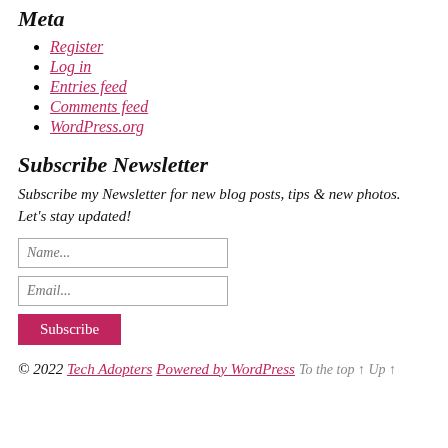Meta
Register
Log in
Entries feed
Comments feed
WordPress.org
Subscribe Newsletter
Subscribe my Newsletter for new blog posts, tips & new photos. Let's stay updated!
© 2022 Tech Adopters
Powered by WordPress
To the top ↑ Up ↑